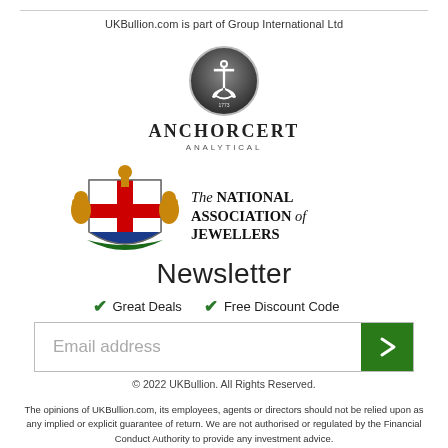UKBullion.com is part of Group International Ltd
[Figure (logo): AnchorCert Analytical logo — circular anchor emblem above the text ANCHORCERT ANALYTICAL]
[Figure (logo): The National Association of Jewellers heraldic coat of arms crest next to text reading: The NATIONAL ASSOCIATION of JEWELLERS]
Newsletter
✓ Great Deals  ✓ Free Discount Code
Email address
© 2022 UKBullion. All Rights Reserved.
The opinions of UKBullion.com, its employees, agents or directors should not be relied upon as any implied or explicit guarantee of return. We are not authorised or regulated by the Financial Conduct Authority to provide any investment advice.